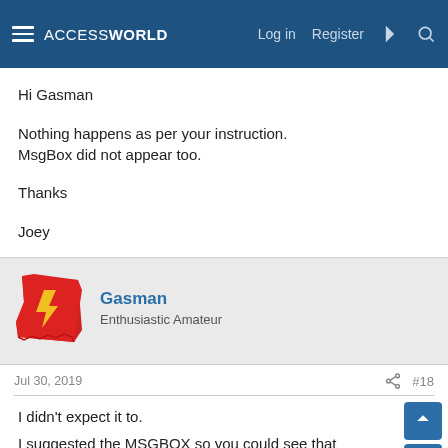ACCESSWORLD — Log in  Register
Hi Gasman

Nothing happens as per your instruction.
MsgBox did not appear too.

Thanks

Joey
Gasman
Enthusiastic Amateur
Jul 30, 2019  #18
I didn't expect it to.
I suggested the MSGBOX so you could see that anything after the quit would not run.